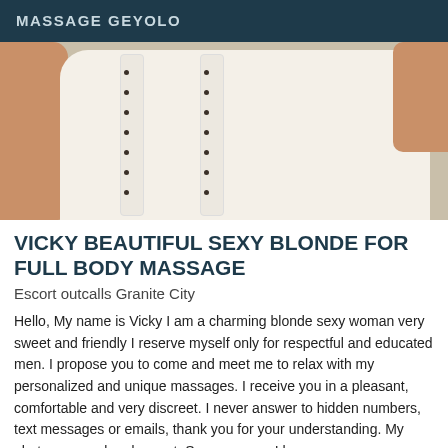MASSAGE GEYOLO
[Figure (photo): Close-up photo of a person wearing white clothing/lingerie with dark button or stud details, showing skin on the sides]
VICKY BEAUTIFUL SEXY BLONDE FOR FULL BODY MASSAGE
Escort outcalls Granite City
Hello, My name is Vicky I am a charming blonde sexy woman very sweet and friendly I reserve myself only for respectful and educated men. I propose you to come and meet me to relax with my personalized and unique massages. I receive you in a pleasant, comfortable and very discreet. I never answer to hidden numbers, text messages or emails, thank you for your understanding. My photos are real and recent. See you soon I hope ...